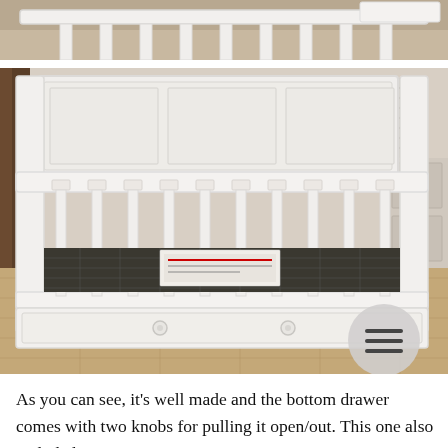[Figure (photo): Partial top view of a white wooden baby crib in a room setting, showing the top rail and slats.]
[Figure (photo): White wooden baby crib with vertical slats, a tall solid headboard panel, and a bottom storage drawer with two knobs. A circular grey hamburger-menu icon appears in the bottom-right corner of the image. The crib is shown in a showroom or home setting.]
As you can see, it's well made and the bottom drawer comes with two knobs for pulling it open/out. This one also included a